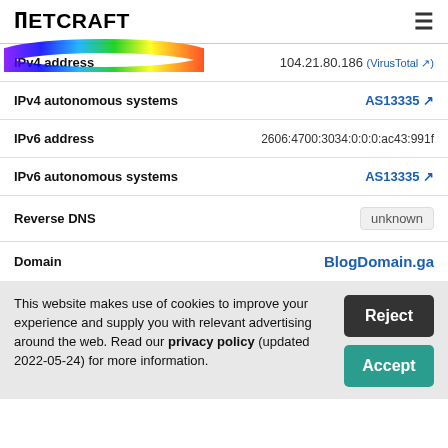Netcraft
| Property | Value |
| --- | --- |
| IPv4 address | 104.21.80.186 (VirusTotal ↗) |
| IPv4 autonomous systems | AS13335 ↗ |
| IPv6 address | 2606:4700:3034:0:0:0:ac43:991f |
| IPv6 autonomous systems | AS13335 ↗ |
| Reverse DNS | unknown |
| Domain | BlogDomain.ga |
This website makes use of cookies to improve your experience and supply you with relevant advertising around the web. Read our privacy policy (updated 2022-05-24) for more information.